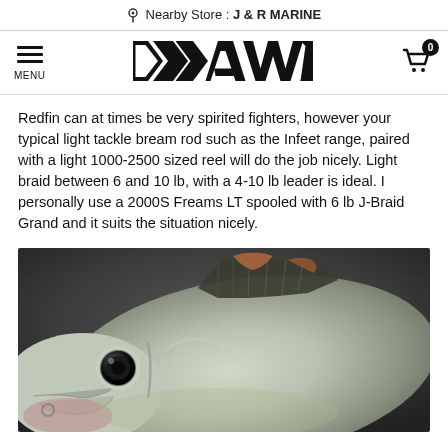Nearby Store : J & R MARINE
[Figure (logo): Daiwa brand logo in bold stylized text with shopping cart icon and menu hamburger icon]
Redfin can at times be very spirited fighters, however your typical light tackle bream rod such as the Infeet range, paired with a light 1000-2500 sized reel will do the job nicely. Light braid between 6 and 10 lb, with a 4-10 lb leader is ideal. I personally use a 2000S Freams LT spooled with 6 lb J-Braid Grand and it suits the situation nicely.
[Figure (photo): Close-up photo of a redfin perch fish held up, showing its silver-grey scales, dark dorsal fin, and large eye against a dark water background]